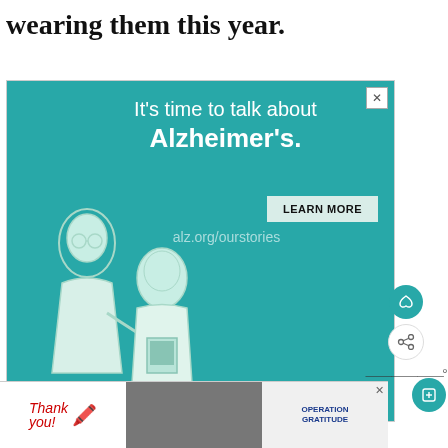wearing them this year.
[Figure (screenshot): Advertisement for Alzheimer's Association. Teal background with white text reading 'It's time to talk about Alzheimer's.' with a 'LEARN MORE' button and URL alz.org/ourstories. Illustration of two elderly figures. Alzheimer's Association logo at bottom right. Close button (X) at top right.]
[Figure (screenshot): Bottom banner advertisement: 'Thank you!' with American flag and pencil illustration on left, military photo in center, 'Operation Gratitude' logo on right with close X button.]